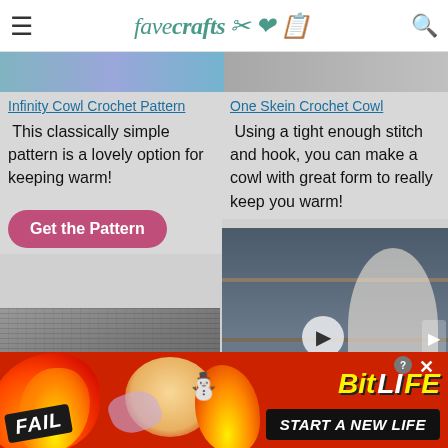favecrafts
Infinity Cowl Crochet Pattern
This classically simple pattern is a lovely option for keeping warm!
One Skein Crochet Cowl
Using a tight enough stitch and hook, you can make a cowl with great form to really keep you warm!
Get the Pattern
[Figure (screenshot): Video player showing a woman crocheting in front of a bookshelf]
[Figure (photo): Gray knitted cowl draped over a surface]
[Figure (photo): Colorful crochet cowl at bottom right]
[Figure (screenshot): BitLife advertisement banner with FAIL text, animated character, fire, and START A NEW LIFE call to action]